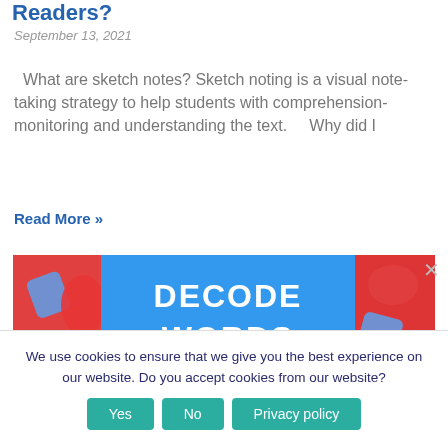Readers?
September 13, 2021
What are sketch notes? Sketch noting is a visual note-taking strategy to help students with comprehension-monitoring and understanding the text.    Why did I
Read More »
[Figure (illustration): Colorful image with blue center panel reading 'DECODE WORDS EFFORTLESSLY In Upper Elementary' with decorative letter-shaped objects on sides]
We use cookies to ensure that we give you the best experience on our website. Do you accept cookies from our website?
Yes   No   Privacy policy